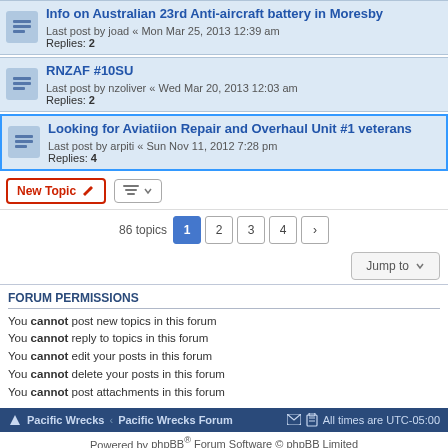Info on Australian 23rd Anti-aircraft battery in Moresby
Last post by joad « Mon Mar 25, 2013 12:39 am
Replies: 2
RNZAF #10SU
Last post by nzoliver « Wed Mar 20, 2013 12:03 am
Replies: 2
Looking for Aviatiion Repair and Overhaul Unit #1 veterans
Last post by arpiti « Sun Nov 11, 2012 7:28 pm
Replies: 4
86 topics
FORUM PERMISSIONS
You cannot post new topics in this forum
You cannot reply to topics in this forum
You cannot edit your posts in this forum
You cannot delete your posts in this forum
You cannot post attachments in this forum
Pacific Wrecks · Pacific Wrecks Forum   All times are UTC-05:00
Powered by phpBB® Forum Software © phpBB Limited
Privacy | Terms